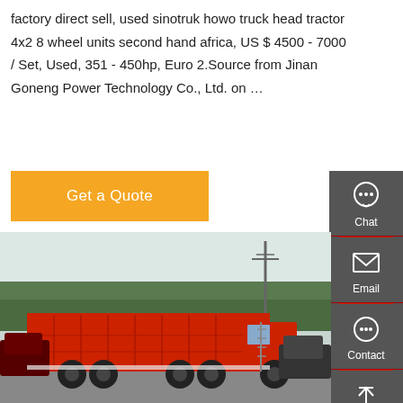factory direct sell, used sinotruk howo truck head tractor 4x2 8 wheel units second hand africa, US $ 4500 - 7000 / Set, Used, 351 - 450hp, Euro 2.Source from Jinan Goneng Power Technology Co., Ltd. on …
Get a Quote
[Figure (photo): Red Sinotruk Howo dump truck parked in a yard with trees and utility poles in background, alongside dark-colored passenger cars]
Chat
Email
Contact
Top